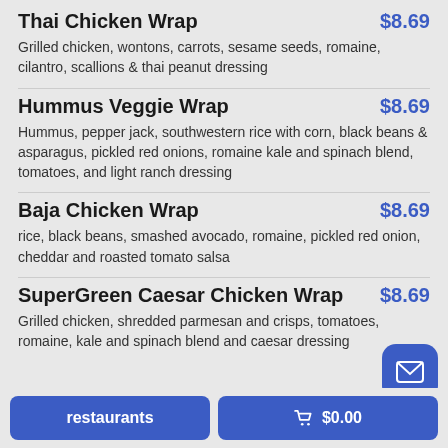Thai Chicken Wrap $8.69 — Grilled chicken, wontons, carrots, sesame seeds, romaine, cilantro, scallions & thai peanut dressing
Hummus Veggie Wrap $8.69 — Hummus, pepper jack, southwestern rice with corn, black beans & asparagus, pickled red onions, romaine kale and spinach blend, tomatoes, and light ranch dressing
Baja Chicken Wrap $8.69 — rice, black beans, smashed avocado, romaine, pickled red onion, cheddar and roasted tomato salsa
SuperGreen Caesar Chicken Wrap $8.69 — Grilled chicken, shredded parmesan and crisps, tomatoes, romaine, kale and spinach blend and caesar dressing
restaurants   🛒 $0.00